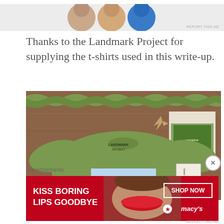[Figure (photo): Top portion of an advertisement strip showing partial profile images on a light gray background]
REPORT THIS AD
Thanks to the Landmark Project for supplying the t-shirts used in this write-up.
[Figure (photo): A green Landmark Project t-shirt laid flat on a wooden surface, accompanied by a braided green fabric strip, arrowhead artifacts, a magazine, and a Great Smoky Mountains Trail Map pamphlet. The t-shirt features a mountain landscape graphic on the front.]
Advertisements
[Figure (photo): Advertisement banner for Macy's lipstick with red background, woman with red lipstick, text KISS BORING LIPS GOODBYE, SHOP NOW button, and Macy's star logo.]